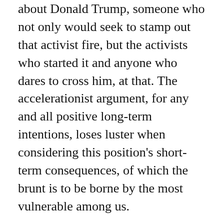about Donald Trump, someone who not only would seek to stamp out that activist fire, but the activists who started it and anyone who dares to cross him, at that. The accelerationist argument, for any and all positive long-term intentions, loses luster when considering this position’s short-term consequences, of which the brunt is to be borne by the most vulnerable among us.
As for the DNC “learning its lesson,” I would point to Joe Biden in 2020 being the nominee as reason enough to think voting for #45 as a protest vote is an exercise in futility. The Democrats haven’t learned anything from